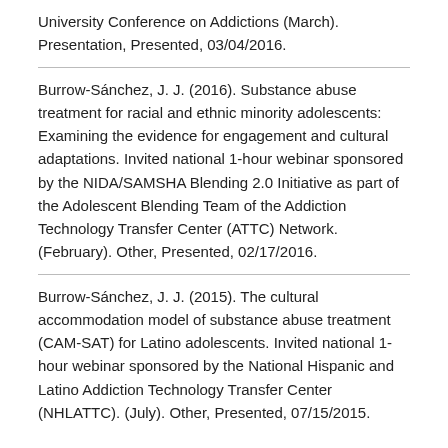University Conference on Addictions (March). Presentation, Presented, 03/04/2016.
Burrow-Sánchez, J. J. (2016). Substance abuse treatment for racial and ethnic minority adolescents: Examining the evidence for engagement and cultural adaptations. Invited national 1-hour webinar sponsored by the NIDA/SAMSHA Blending 2.0 Initiative as part of the Adolescent Blending Team of the Addiction Technology Transfer Center (ATTC) Network. (February). Other, Presented, 02/17/2016.
Burrow-Sánchez, J. J. (2015). The cultural accommodation model of substance abuse treatment (CAM-SAT) for Latino adolescents. Invited national 1-hour webinar sponsored by the National Hispanic and Latino Addiction Technology Transfer Center (NHLATTC). (July). Other, Presented, 07/15/2015.